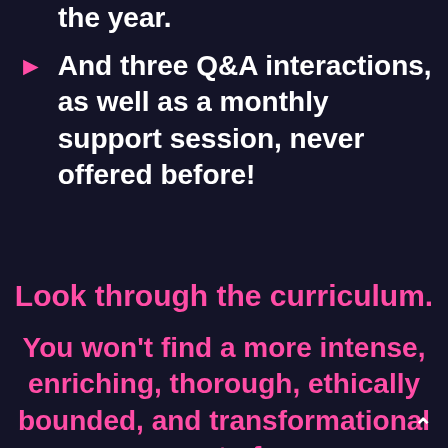the year.
And three Q&A interactions, as well as a monthly support session, never offered before!
Look through the curriculum.
You won't find a more intense, enriching, thorough, ethically bounded, and transformational set of